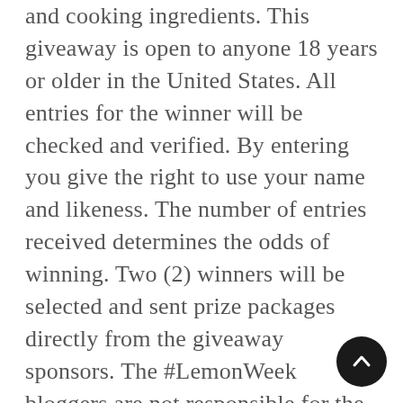and cooking ingredients. This giveaway is open to anyone 18 years or older in the United States. All entries for the winner will be checked and verified. By entering you give the right to use your name and likeness. The number of entries received determines the odds of winning. Two (2) winners will be selected and sent prize packages directly from the giveaway sponsors. The #LemonWeek bloggers are not responsible for the fulfillment or delivery of the prize packages. Bloggers hosting this giveaway and their immediate family members in their household cannot enter or win the giveaway. No purchase necessary. Void where prohibited by law. This promotion is in no way sponsored, endorsed or administered by, or associated with Facebook, Instagram, Pinterest, Twitter & any other social channel mentioned in the